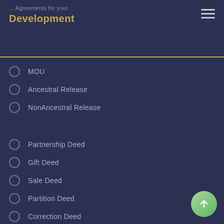... Agreements for your Development
MOU
Ancestral Release
NonAncestral Release
Partnership Deed
Gift Deed
Sale Deed
Partition Deed
Correction Deed
Mortgage Deed
Notice Of Intimation